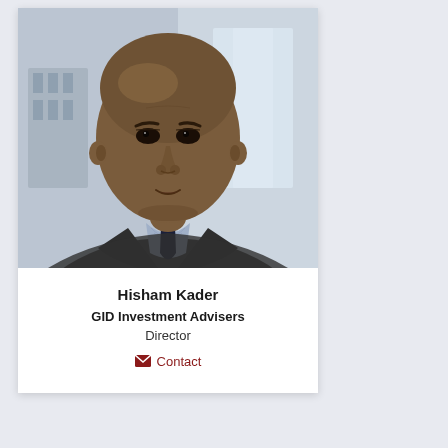[Figure (photo): Professional headshot of Hisham Kader, a bald man wearing a dark suit jacket, blue checked shirt, and dark navy tie, photographed against a blurred office background.]
Hisham Kader
GID Investment Advisers
Director
Contact